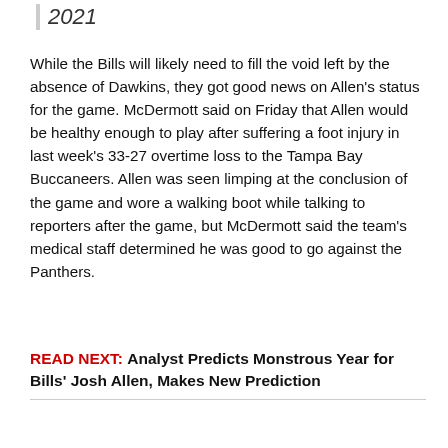2021
While the Bills will likely need to fill the void left by the absence of Dawkins, they got good news on Allen's status for the game. McDermott said on Friday that Allen would be healthy enough to play after suffering a foot injury in last week's 33-27 overtime loss to the Tampa Bay Buccaneers. Allen was seen limping at the conclusion of the game and wore a walking boot while talking to reporters after the game, but McDermott said the team's medical staff determined he was good to go against the Panthers.
READ NEXT: Analyst Predicts Monstrous Year for Bills' Josh Allen, Makes New Prediction